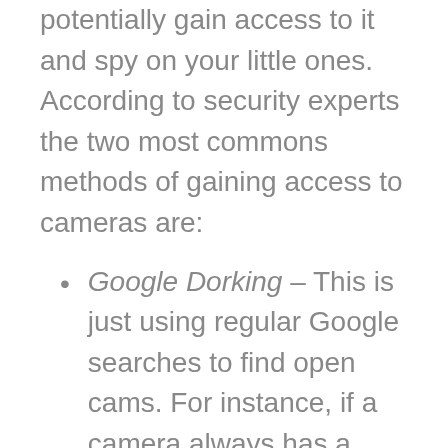potentially gain access to it and spy on your little ones. According to security experts the two most commons methods of gaining access to cameras are:
Google Dorking – This is just using regular Google searches to find open cams. For instance, if a camera always has a public URL + camera number, hackers can run some quick queries and search for more open URLs. There's even a search engine for internet connected devices called Shodan which has a section that lets users easily browse vulnerable webcams.